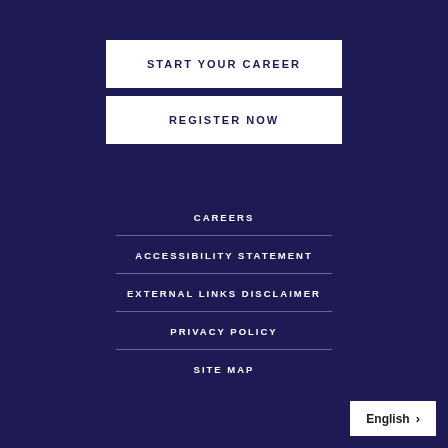START YOUR CAREER
REGISTER NOW
CAREERS
ACCESSIBILITY STATEMENT
EXTERNAL LINKS DISCLAIMER
PRIVACY POLICY
SITE MAP
English